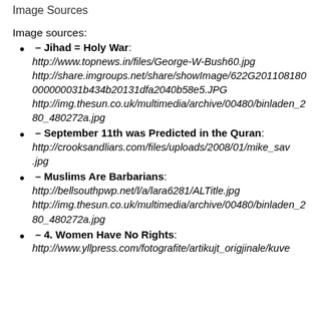Image Sources
Image sources:
– Jihad = Holy War: http://www.topnews.in/files/George-W-Bush60.jpg http://share.imgroups.net/share/showImage/622G201108180000000031b434b20131dfa2040b58e5.JPG http://img.thesun.co.uk/multimedia/archive/00480/binladen_280_480272a.jpg
– September 11th was Predicted in the Quran: http://crooksandliars.com/files/uploads/2008/01/mike_sav.jpg
– Muslims Are Barbarians: http://bellsouthpwp.net/l/a/lara6281/ALTitle.jpg http://img.thesun.co.uk/multimedia/archive/00480/binladen_280_480272a.jpg
– 4. Women Have No Rights: http://www.yllpress.com/fotografite/artikujt_origjinale/kuve